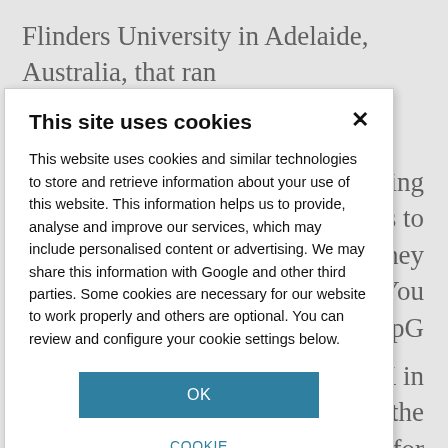Flinders University in Adelaide, Australia, that ran computer screening on DNA sequences to uncover
hich is being
s more vaccines to
d so that they
nune cells. 'You
ent CpG
hance of GSK in
recognised the
ired Corixa for
ant MPL, which
. Garcon recalls
This site uses cookies — This website uses cookies and similar technologies to store and retrieve information about your use of this website. This information helps us to provide, analyse and improve our services, which may include personalised content or advertising. We may share this information with Google and other third parties. Some cookies are necessary for our website to work properly and others are optional. You can review and configure your cookie settings below.
OK
COOKIE SETTINGS